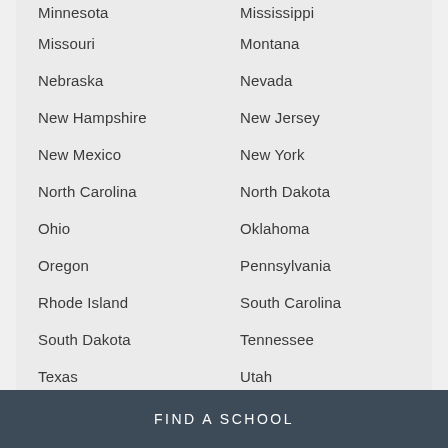Minnesota
Mississippi
Missouri
Montana
Nebraska
Nevada
New Hampshire
New Jersey
New Mexico
New York
North Carolina
North Dakota
Ohio
Oklahoma
Oregon
Pennsylvania
Rhode Island
South Carolina
South Dakota
Tennessee
Texas
Utah
Vermont
Virginia
FIND A SCHOOL